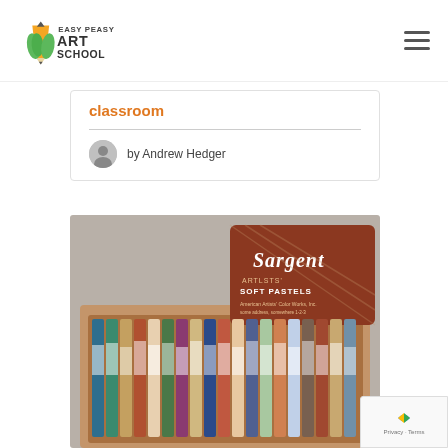Easy Peasy Art School
classroom
by Andrew Hedger
[Figure (photo): A box of Sargent Artists Soft Pastels with colorful pastel sticks arranged in a wooden tray, viewed from above at an angle]